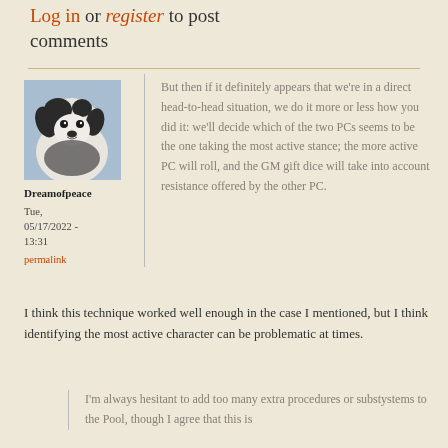Log in or register to post comments
[Figure (photo): Profile picture of a black and white dog (Papillon puppy) looking down at the camera]
Dreamofpeace
Tue, 05/17/2022 - 13:31
permalink
But then if it definitely appears that we're in a direct head-to-head situation, we do it more or less how you did it: we'll decide which of the two PCs seems to be the one taking the most active stance; the more active PC will roll, and the GM gift dice will take into account resistance offered by the other PC.
I think this technique worked well enough in the case I mentioned, but I think identifying the most active character can be problematic at times.
I'm always hesitant to add too many extra procedures or substystems to the Pool, though I agree that this is